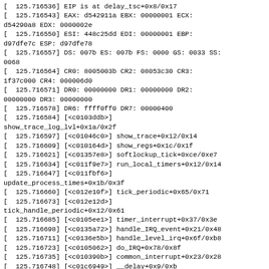[  125.716536] EIP is at delay_tsc+0x8/0x17
[  125.716543] EAX: d542911a EBX: 00000001 ECX: d54290a8 EDX: 0000002e
[  125.716550] ESI: 448c25dd EDI: 00000001 EBP: d97dfe7c ESP: d97dfe78
[  125.716557] DS: 007b ES: 007b FS: 0000 GS: 0033 SS: 0068
[  125.716564] CR0: 8005003b CR2: 08053c30 CR3: 1f37c000 CR4: 000006d0
[  125.716571] DR0: 00000000 DR1: 00000000 DR2: 00000000 DR3: 00000000
[  125.716578] DR6: ffff0ff0 DR7: 00000400
[  125.716584] [<c0103ddb>]
show_trace_log_lvl+0x1a/0x2f
[  125.716597] [<c01046c0>] show_trace+0x12/0x14
[  125.716609] [<c010164d>] show_regs+0x1c/0x1f
[  125.716621] [<c01357e8>] softlockup_tick+0xce/0xe7
[  125.716634] [<c011f9e7>] run_local_timers+0x12/0x14
[  125.716647] [<c011fbf6>]
update_process_times+0x1b/0x3f
[  125.716660] [<c012e10f>] tick_periodic+0x65/0x71
[  125.716673] [<c012e12d>]
tick_handle_periodic+0x12/0x61
[  125.716685] [<c0105ee1>] timer_interrupt+0x37/0x3e
[  125.716698] [<c0135a72>] handle_IRQ_event+0x21/0x48
[  125.716711] [<c0136e5b>] handle_level_irq+0x6f/0xb8
[  125.716723] [<c0105062>] do_IRQ+0x78/0x8f
[  125.716735] [<c010390b>] common_interrupt+0x23/0x28
[  125.716748] [<c01c6949>] __delay+0x9/0xb
[  125.716761] [<c01d2d49>] raw_spin_lock+0x7f/0xd8